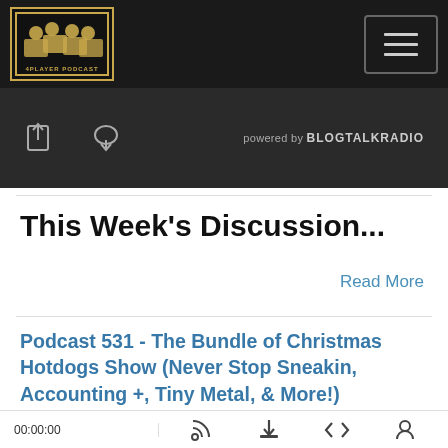[Figure (screenshot): Website navigation bar with 4Player Podcast logo on the left and hamburger menu button on the right, dark background]
[Figure (screenshot): Audio player bar with share/download icons on the left and 'powered by BLOGTALKRADIO' text on the right, dark background]
This Week's Discussion...
Read More
Podcast 531 - The Bundle of Christmas Hotdogs Show (Never Stop Sneakin, Accounting +, Tiny Metal, & More!)
[Figure (screenshot): Podcast player widget showing 4PLAYER PODCAST episode 'Podcast 531 - The Bundle of Christmas Hotdo...' with play button and progress bar]
00:00:00